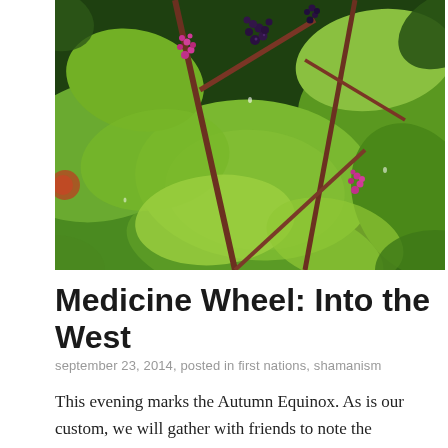[Figure (photo): Close-up photo of green leafy plants with dark purple/black berries and pink/magenta flower clusters on reddish-brown stems. Dense tropical or garden foliage.]
Medicine Wheel: Into the West
september 23, 2014, posted in first nations, shamanism
This evening marks the Autumn Equinox. As is our custom, we will gather with friends to note the changing seasons, to explore our journey around the